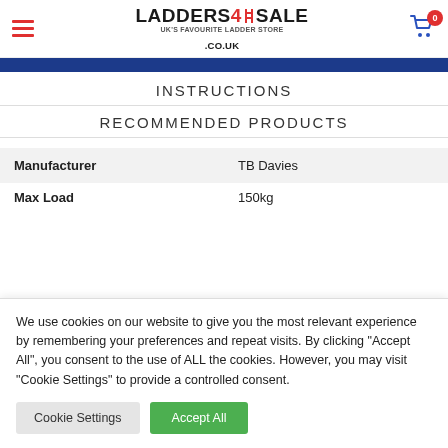LADDERS4SALE .CO.UK — UK's Favourite Ladder Store
INSTRUCTIONS
RECOMMENDED PRODUCTS
| Manufacturer | TB Davies |
| --- | --- |
| Max Load | 150kg |
We use cookies on our website to give you the most relevant experience by remembering your preferences and repeat visits. By clicking "Accept All", you consent to the use of ALL the cookies. However, you may visit "Cookie Settings" to provide a controlled consent.
Cookie Settings | Accept All